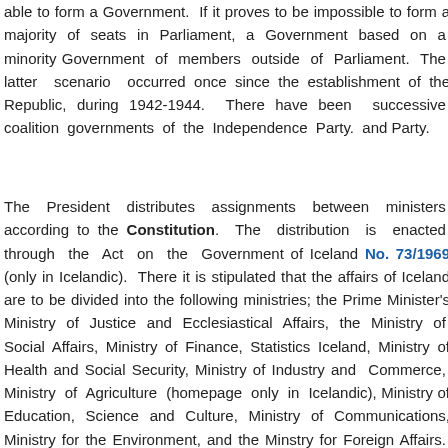able to form a Government. If it proves to be impossible to form a majority of seats in Parliament, a Government based on a minority Government of members outside of Parliament. The latter scenario occurred once since the establishment of the Republic, during 1942-1944. There have been successive coalition governments of the Independence Party. and Progressive Party.
The President distributes assignments between ministers according to the Constitution. The distribution is enacted through the Act on the Government of Iceland No. 73/1969 (only in Icelandic). There it is stipulated that the affairs of Iceland are to be divided into the following ministries; the Prime Minister's Ministry of Justice and Ecclesiastical Affairs, the Ministry of Social Affairs, Ministry of Finance, Statistics Iceland, Ministry of Health and Social Security, Ministry of Industry and Commerce, Ministry of Agriculture (homepage only in Icelandic), Ministry of Education, Science and Culture, Ministry of Communications, Ministry for the Environment, and the Minstry for Foreign Affairs. Each ministry consists of a central department with a number of ministries under its jurisdiction.